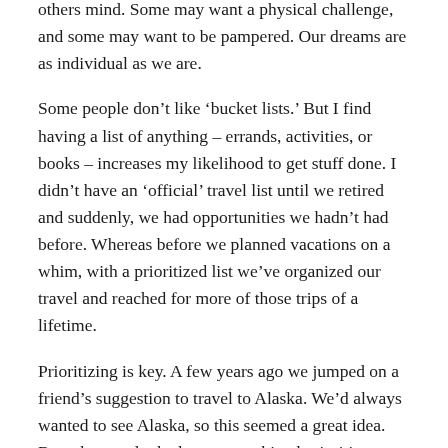others mind. Some may want a physical challenge, and some may want to be pampered. Our dreams are as individual as we are.
Some people don’t like ‘bucket lists.’ But I find having a list of anything – errands, activities, or books – increases my likelihood to get stuff done. I didn’t have an ‘official’ travel list until we retired and suddenly, we had opportunities we hadn’t had before. Whereas before we planned vacations on a whim, with a prioritized list we’ve organized our travel and reached for more of those trips of a lifetime.
Prioritizing is key. A few years ago we jumped on a friend’s suggestion to travel to Alaska. We’d always wanted to see Alaska, so this seemed a great idea. But when we looked at our combined priorities, we noted that Alaska was way down the list, far below out #1 destination – Costa Rica. We opted to skip the trip and went to Costa Rica instead. We’ll get to Alaska some